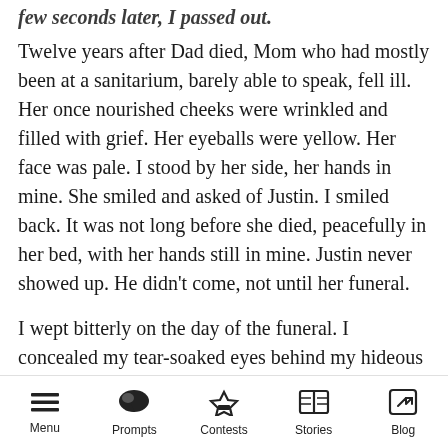few seconds later, I passed out.
Twelve years after Dad died, Mom who had mostly been at a sanitarium, barely able to speak, fell ill. Her once nourished cheeks were wrinkled and filled with grief. Her eyeballs were yellow. Her face was pale. I stood by her side, her hands in mine. She smiled and asked of Justin. I smiled back. It was not long before she died, peacefully in her bed, with her hands still in mine. Justin never showed up. He didn't come, not until her funeral.
I wept bitterly on the day of the funeral. I concealed my tear-soaked eyes behind my hideous dark shades. Mother was gentle, kind
Menu  Prompts  Contests  Stories  Blog